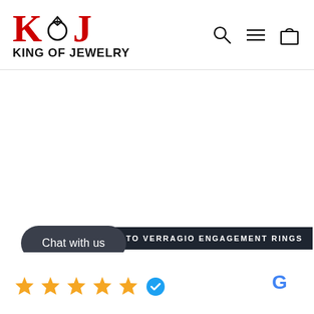[Figure (logo): King of Jewelry logo with KOJ letters (K and J in red, ring icon between them) and 'KING OF JEWELRY' text below]
[Figure (logo): Navigation icons: search (magnifying glass), menu (hamburger), and shopping bag]
[Figure (screenshot): White empty content area (page body), likely an image that failed to load]
TO VERRAGIO ENGAGEMENT RINGS
Chat with us
[Figure (other): Five orange/amber star rating icons followed by a blue verified badge icon, and Google logo on the right]